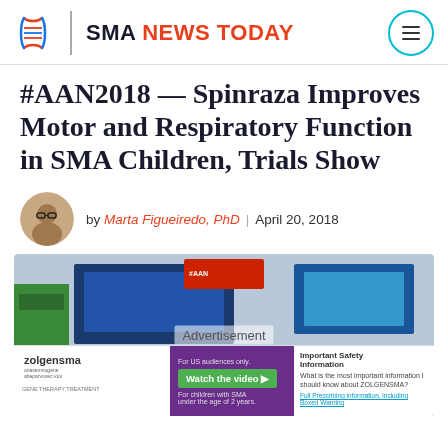SMA NEWS TODAY
#AAN2018 — Spinraza Improves Motor and Respiratory Function in SMA Children, Trials Show
by Marta Figueiredo, PhD | April 20, 2018
[Figure (photo): Conference photo showing audience and presentation screens, with an advertisement overlay for Zolgensma drug showing 'For US audiences only. Watch the video. For children with SMA under the age of 2 years.' and 'Important Safety Information. What is the most important information I should know about ZOLGENSMA?']